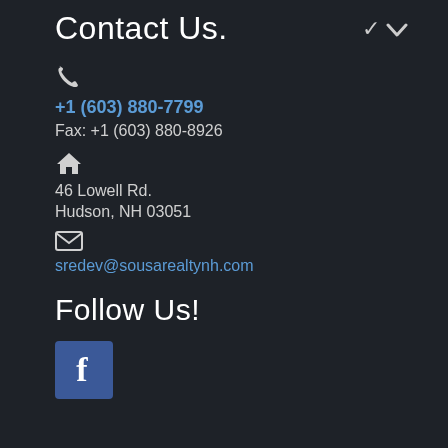Contact Us.
+1 (603) 880-7799
Fax: +1 (603) 880-8926
46 Lowell Rd.
Hudson, NH 03051
sredev@sousarealtynh.com
Follow Us!
[Figure (logo): Facebook logo icon — blue square with white 'f' letter]